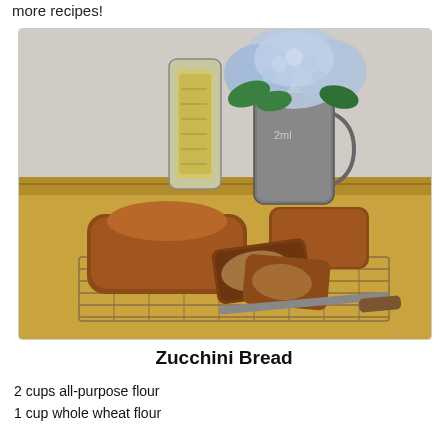more recipes!
[Figure (photo): Photo of two loaves of zucchini bread on a wire cooling rack on a golden countertop. One loaf is whole, the other is sliced. A glass jar filled with grain and a metal pitcher with blue hydrangea flowers are in the background.]
Zucchini Bread
2 cups all-purpose flour
1 cup whole wheat flour